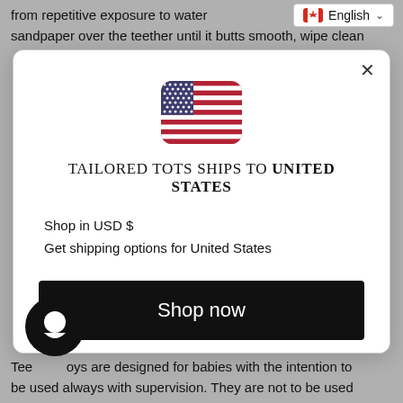from repetitive exposure to water sandpaper over the teether until it butts smooth, wipe clean
[Figure (screenshot): Language selector showing Canadian flag and 'English' with dropdown chevron]
[Figure (infographic): Modal popup: US flag icon, title 'TAILORED TOTS SHIPS TO UNITED STATES', 'Shop in USD $', 'Get shipping options for United States', black 'Shop now' button, 'Change shipping country' link, with close X button]
Teething toys are designed for babies with the intention to be used always with supervision. They are not to be used